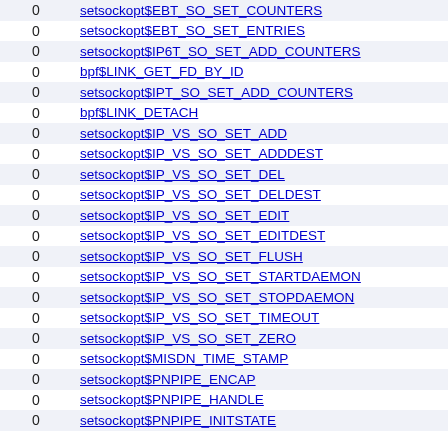|  |  |
| --- | --- |
| 0 | setsockopt$EBT_SO_SET_COUNTERS |
| 0 | setsockopt$EBT_SO_SET_ENTRIES |
| 0 | setsockopt$IP6T_SO_SET_ADD_COUNTERS |
| 0 | bpf$LINK_GET_FD_BY_ID |
| 0 | setsockopt$IPT_SO_SET_ADD_COUNTERS |
| 0 | bpf$LINK_DETACH |
| 0 | setsockopt$IP_VS_SO_SET_ADD |
| 0 | setsockopt$IP_VS_SO_SET_ADDDEST |
| 0 | setsockopt$IP_VS_SO_SET_DEL |
| 0 | setsockopt$IP_VS_SO_SET_DELDEST |
| 0 | setsockopt$IP_VS_SO_SET_EDIT |
| 0 | setsockopt$IP_VS_SO_SET_EDITDEST |
| 0 | setsockopt$IP_VS_SO_SET_FLUSH |
| 0 | setsockopt$IP_VS_SO_SET_STARTDAEMON |
| 0 | setsockopt$IP_VS_SO_SET_STOPDAEMON |
| 0 | setsockopt$IP_VS_SO_SET_TIMEOUT |
| 0 | setsockopt$IP_VS_SO_SET_ZERO |
| 0 | setsockopt$MISDN_TIME_STAMP |
| 0 | setsockopt$PNPIPE_ENCAP |
| 0 | setsockopt$PNPIPE_HANDLE |
| 0 | setsockopt$PNPIPE_INITSTATE |